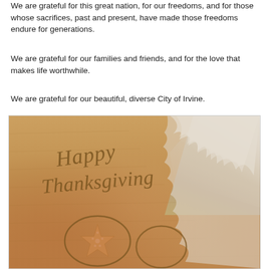We are grateful for this great nation, for our freedoms, and for those whose sacrifices, past and present, have made those freedoms endure for generations.
We are grateful for our families and friends, and for the love that makes life worthwhile.
We are grateful for our beautiful, diverse City of Irvine.
[Figure (photo): A beach scene with 'Happy Thanksgiving' written in cursive script in the sand, along with a starfish and decorative circles drawn in the sand. Ocean waves with white foam visible in the upper right portion of the image.]